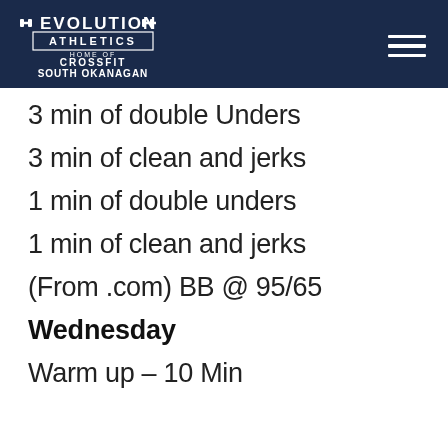EVOLUTION ATHLETICS HOME OF CROSSFIT SOUTH OKANAGAN
3 min of double Unders
3 min of clean and jerks
1 min of double unders
1 min of clean and jerks
(From .com) BB @ 95/65
Wednesday
Warm up – 10 Min